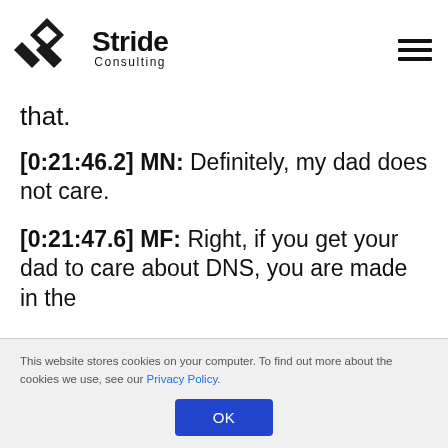[Figure (logo): Stride Consulting logo with diamond/arrow icon and text 'Stride Consulting']
that.
[0:21:46.2] MN: Definitely, my dad does not care.
[0:21:47.6] MF: Right, if you get your dad to care about DNS, you are made in the
This website stores cookies on your computer. To find out more about the cookies we use, see our Privacy Policy.